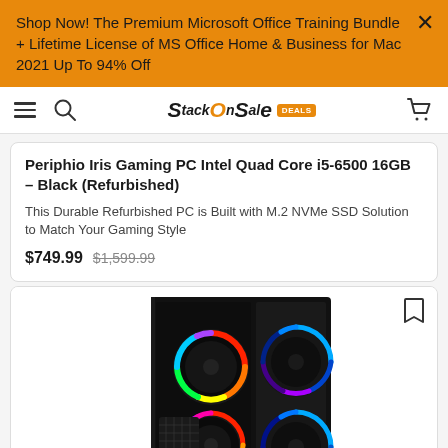Shop Now! The Premium Microsoft Office Training Bundle + Lifetime License of MS Office Home & Business for Mac 2021 Up To 94% Off
[Figure (logo): StackSocial logo with orange accent and DEALS badge in navigation bar]
Periphio Iris Gaming PC Intel Quad Core i5-6500 16GB - Black (Refurbished)
This Durable Refurbished PC is Built with M.2 NVMe SSD Solution to Match Your Gaming Style
$749.99  $1,599.99
[Figure (photo): Black gaming PC tower case with RGB lighting rings on fans, visible through tempered glass side panel. Front panel features two large circular RGB fans and one smaller ring fan on top. Dark background.]